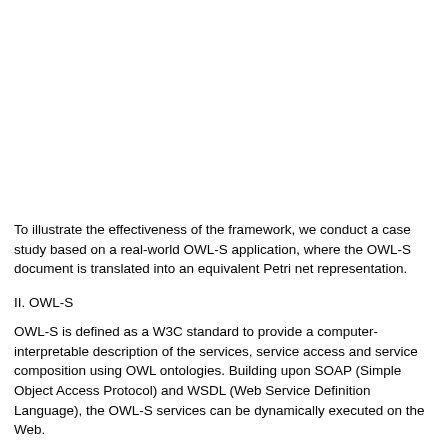To illustrate the effectiveness of the framework, we conduct a case study based on a real-world OWL-S application, where the OWL-S document is translated into an equivalent Petri net representation.
II. OWL-S
OWL-S is defined as a W3C standard to provide a computer-interpretable description of the services, service access and service composition using OWL ontologies. Building upon SOAP (Simple Object Access Protocol) and WSDL (Web Service Definition Language), the OWL-S services can be dynamically executed on the Web.
OWL-S models the upper ontology for services from three perspectives: